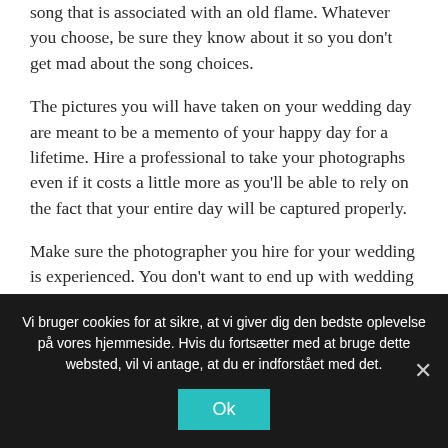song that is associated with an old flame. Whatever you choose, be sure they know about it so you don't get mad about the song choices.
The pictures you will have taken on your wedding day are meant to be a memento of your happy day for a lifetime. Hire a professional to take your photographs even if it costs a little more as you'll be able to rely on the fact that your entire day will be captured properly.
Make sure the photographer you hire for your wedding is experienced. You don't want to end up with wedding pictures that you're unhappy with.
Vi bruger cookies for at sikre, at vi giver dig den bedste oplevelse på vores hjemmeside. Hvis du fortsætter med at bruge dette websted, vil vi antage, at du er indforstået med det.